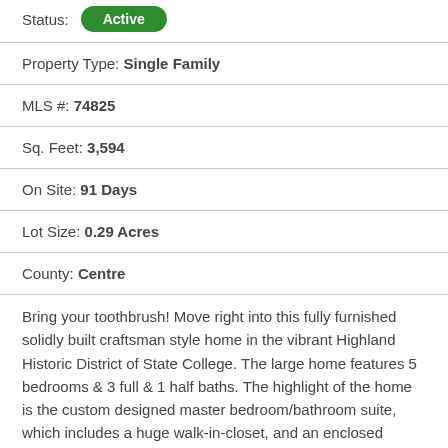Status: Active
Property Type: Single Family
MLS #: 74825
Sq. Feet: 3,594
On Site: 91 Days
Lot Size: 0.29 Acres
County: Centre
Bring your toothbrush! Move right into this fully furnished solidly built craftsman style home in the vibrant Highland Historic District of State College. The large home features 5 bedrooms & 3 full & 1 half baths. The highlight of the home is the custom designed master bedroom/bathroom suite, which includes a huge walk-in-closet, and an enclosed balcony that has floor to ceiling windows. An outstanding feature is the